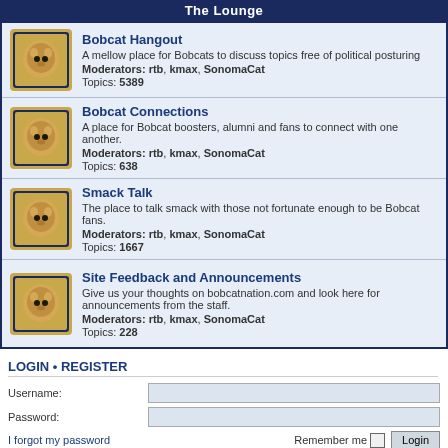The Lounge
Bobcat Hangout
A mellow place for Bobcats to discuss topics free of political posturing
Moderators: rtb, kmax, SonomaCat
Topics: 5389
Bobcat Connections
A place for Bobcat boosters, alumni and fans to connect with one another.
Moderators: rtb, kmax, SonomaCat
Topics: 638
Smack Talk
The place to talk smack with those not fortunate enough to be Bobcat fans.
Moderators: rtb, kmax, SonomaCat
Topics: 1667
Site Feedback and Announcements
Give us your thoughts on bobcatnation.com and look here for announcements from the staff.
Moderators: rtb, kmax, SonomaCat
Topics: 228
LOGIN • REGISTER
Username:
Password:
I forgot my password
Remember me  Login
WHO IS ONLINE
In total there are 63 users online :: 15 registered, 1 hidden and 47 guests (based on users